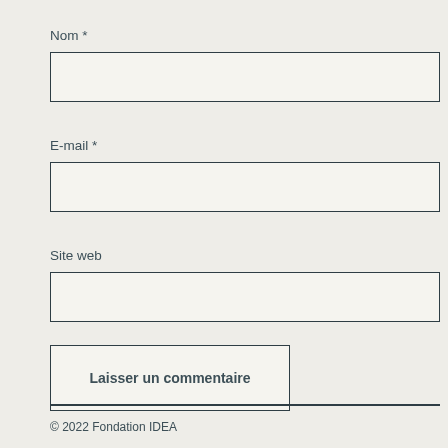Nom *
[Figure (other): Empty text input field for Nom]
E-mail *
[Figure (other): Empty text input field for E-mail]
Site web
[Figure (other): Empty text input field for Site web]
[Figure (other): Submit button labeled Laisser un commentaire]
© 2022 Fondation IDEA